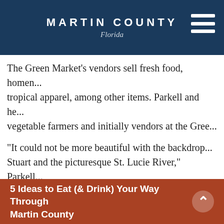MARTIN COUNTY Florida
The Green Market's vendors sell fresh food, homen... tropical apparel, among other items. Parkell and he... vegetable farmers and initially vendors at the Gree...
“It could not be more beautiful with the backdrop... Stuart and the picturesque St. Lucie River,” Parkell... downtown area is just a charming place to walk ano... enjoy with friends and family. There is live music eve... sea breezes and pleasant vendors; it is a gem of the...
Vendors have to go through an application process... screened for space availability, appropriateness of p... whether the market has a need for their type of pr... their willingness to maintain a professional business...
5 Ideas to Eat (& Drink) Your Way Through Martin County